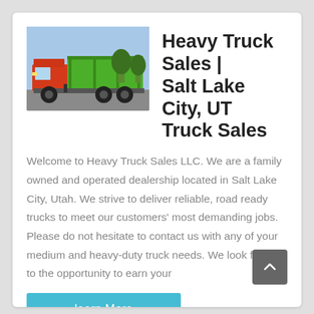[Figure (photo): Green dump truck parked on a lot, side view, blue sky background]
Heavy Truck Sales | Salt Lake City, UT Truck Sales
Welcome to Heavy Truck Sales LLC. We are a family owned and operated dealership located in Salt Lake City, Utah. We strive to deliver reliable, road ready trucks to meet our customers' most demanding jobs. Please do not hesitate to contact us with any of your medium and heavy-duty truck needs. We look forward to the opportunity to earn your
learn More